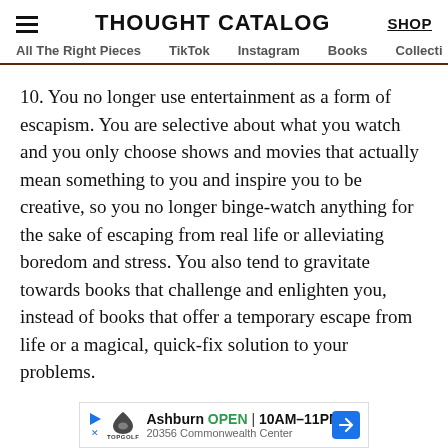THOUGHT CATALOG | SHOP
All The Right Pieces   TikTok   Instagram   Books   Collecti
10. You no longer use entertainment as a form of escapism. You are selective about what you watch and you only choose shows and movies that actually mean something to you and inspire you to be creative, so you no longer binge-watch anything for the sake of escaping from real life or alleviating boredom and stress. You also tend to gravitate towards books that challenge and enlighten you, instead of books that offer a temporary escape from life or a magical, quick-fix solution to your problems.
[Figure (other): Advertisement banner for Topgolf Ashburn showing OPEN 10AM-11PM and address 20356 Commonwealth Center]